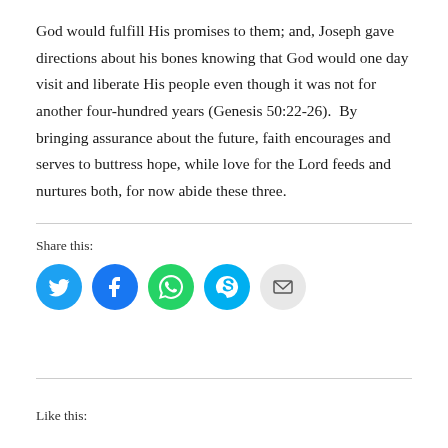God would fulfill His promises to them; and, Joseph gave directions about his bones knowing that God would one day visit and liberate His people even though it was not for another four-hundred years (Genesis 50:22-26).  By bringing assurance about the future, faith encourages and serves to buttress hope, while love for the Lord feeds and nurtures both, for now abide these three.
Share this:
[Figure (infographic): Social share buttons: Twitter (blue circle), Facebook (blue circle), WhatsApp (green circle), Skype (light blue circle), Email (grey circle with envelope icon)]
Like this: